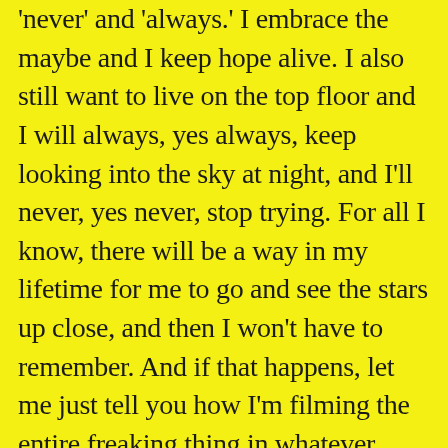'never' and 'always.' I embrace the maybe and I keep hope alive. I also still want to live on the top floor and I will always, yes always, keep looking into the sky at night, and I'll never, yes never, stop trying. For all I know, there will be a way in my lifetime for me to go and see the stars up close, and then I won't have to remember. And if that happens, let me just tell you how I'm filming the entire freaking thing in whatever they're calling high-definition at that point, and I'm storing copies of the video in at least ten different locations, real and virtual, just in case I develop amnesia right at the same time that there's a fire, a flood, and a tornado and also the entire internet gets